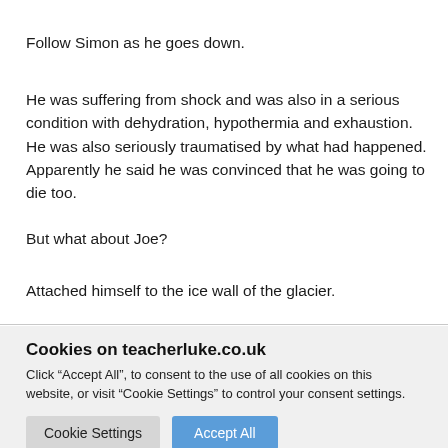Follow Simon as he goes down.
He was suffering from shock and was also in a serious condition with dehydration, hypothermia and exhaustion. He was also seriously traumatised by what had happened. Apparently he said he was convinced that he was going to die too.
But what about Joe?
Attached himself to the ice wall of the glacier.
Cookies on teacherluke.co.uk
Click “Accept All”, to consent to the use of all cookies on this website, or visit “Cookie Settings” to control your consent settings.